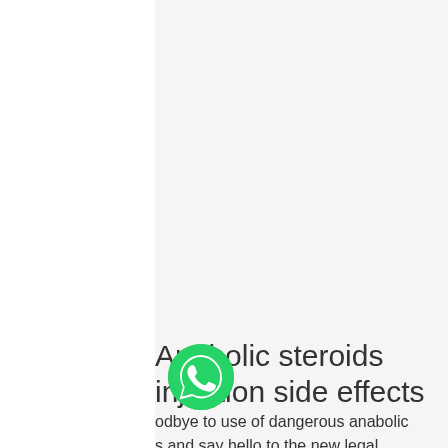Anabolic steroids injection side effects
[Figure (other): Green WhatsApp chat button icon (circular, green background with white chat bubble icon)]
odbye to use of dangerous anabolic s and say hello to the new legal natural steroids that mimic the effects of the